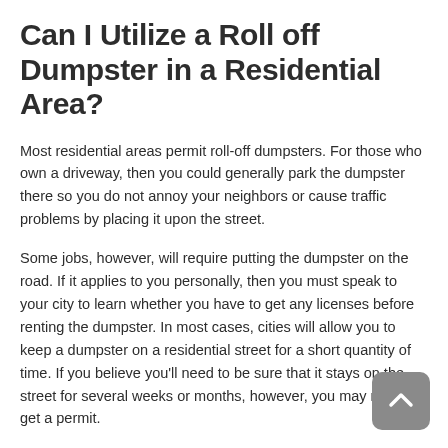Can I Utilize a Roll off Dumpster in a Residential Area?
Most residential areas permit roll-off dumpsters. For those who own a driveway, then you could generally park the dumpster there so you do not annoy your neighbors or cause traffic problems by placing it upon the street.
Some jobs, however, will require putting the dumpster on the road. If it applies to you personally, then you must speak to your city to learn whether you have to get any licenses before renting the dumpster. In most cases, cities will allow you to keep a dumpster on a residential street for a short quantity of time. If you believe you'll need to be sure that it stays on the street for several weeks or months, however, you may need to get a permit.
Contacting your local licenses and licensing office is usually wise. Even supposing it's an unnecessary precaution, at least you'll